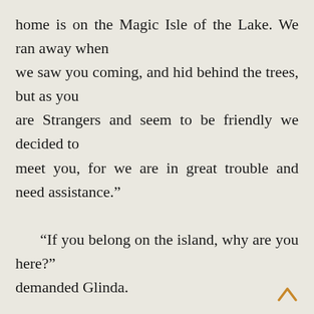home is on the Magic Isle of the Lake. We ran away when we saw you coming, and hid behind the trees, but as you are Strangers and seem to be friendly we decided to meet you, for we are in great trouble and need assistance."

“If you belong on the island, why are you here?” demanded Glinda.